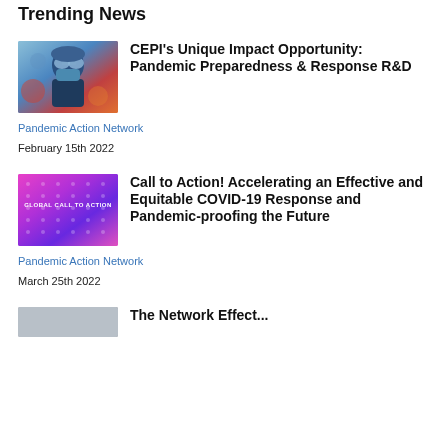Trending News
[Figure (photo): Person in medical protective gear with goggles and mask, blue-toned photo]
CEPI's Unique Impact Opportunity: Pandemic Preparedness & Response R&D
Pandemic Action Network
February 15th 2022
[Figure (photo): Pink and purple gradient background with text 'GLOBAL CALL TO ACTION']
Call to Action! Accelerating an Effective and Equitable COVID-19 Response and Pandemic-proofing the Future
Pandemic Action Network
March 25th 2022
[Figure (photo): Partially visible thumbnail image at bottom of page]
The Network Effect...